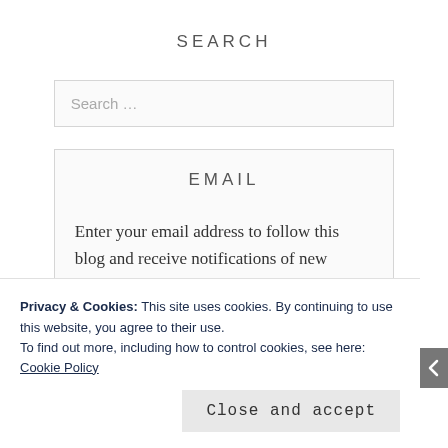SEARCH
Search ...
EMAIL
Enter your email address to follow this blog and receive notifications of new
Privacy & Cookies: This site uses cookies. By continuing to use this website, you agree to their use. To find out more, including how to control cookies, see here: Cookie Policy
Close and accept